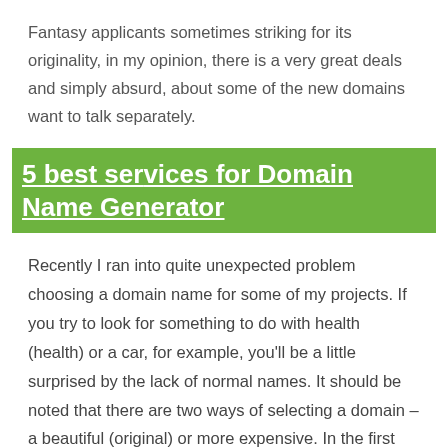Fantasy applicants sometimes striking for its originality, in my opinion, there is a very great deals and simply absurd, about some of the new domains want to talk separately.
5 best services for Domain Name Generator
Recently I ran into quite unexpected problem choosing a domain name for some of my projects. If you try to look for something to do with health (health) or a car, for example, you'll be a little surprised by the lack of normal names. It should be noted that there are two ways of selecting a domain – a beautiful (original) or more expensive. In the first case, you can not think about the